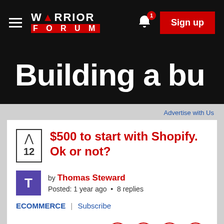WARRIOR FORUM — Sign up
[Figure (screenshot): Warrior Forum website banner showing 'Building a bu...' text on black background]
Advertise with Us
$500 to start with Shopify. Ok or not?
by Thomas Steward
Posted: 1 year ago • 8 replies
ECOMMERCE | Subscribe
Hello, fellow mar...